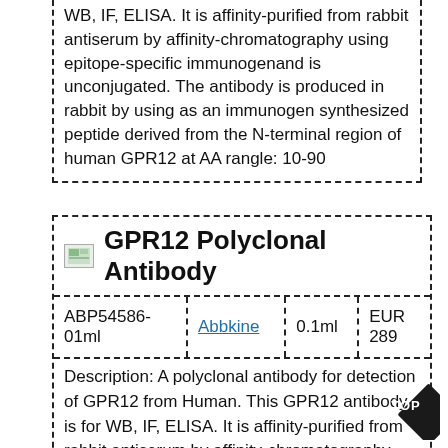WB, IF, ELISA. It is affinity-purified from rabbit antiserum by affinity-chromatography using epitope-specific immunogenand is unconjugated. The antibody is produced in rabbit by using as an immunogen synthesized peptide derived from the N-terminal region of human GPR12 at AA rangle: 10-90
GPR12 Polyclonal Antibody
| Cat# | Brand | Size | Price |
| --- | --- | --- | --- |
| ABP54586-01ml | Abbkine | 0.1ml | EUR 289 |
Description: A polyclonal antibody for detection of GPR12 from Human. This GPR12 antibody is for WB, IF, ELISA. It is affinity-purified from rabbit antiserum by affinity-chromatography using epitope-specific immunogenand is